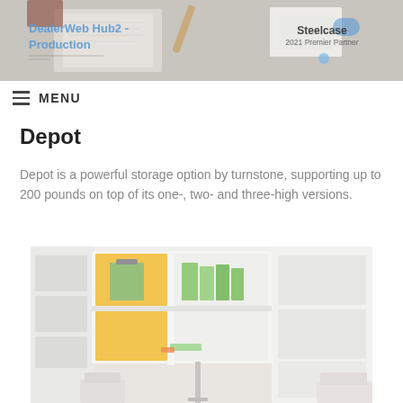[Figure (photo): Header banner image showing a desk with office supplies, notebooks, and stationery items from above. Text overlay on left reads 'DealerWeb Hub2 - Production' in blue. Steelcase 2021 Premier Partner logo on the right.]
MENU
Depot
Depot is a powerful storage option by turnstone, supporting up to 200 pounds on top of its one-, two- and three-high versions.
[Figure (photo): Product photo of Depot storage units by Turnstone/Steelcase. White modular shelving units with yellow/orange accent panels and green books/items on shelves. Modern office environment.]